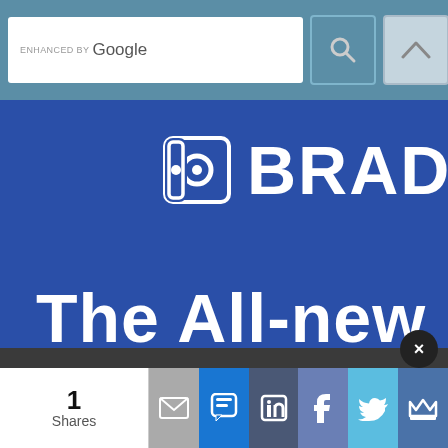[Figure (screenshot): Website header with Google search bar, search icon, navigation up arrow button, and hamburger menu button on a teal/steel blue background]
[Figure (logo): Brady brand logo and banner on dark blue background showing the Brady logo and text 'The All-new']
We use cookies to deliver the best possible experience on our website. By continuing to use this site, accepting or closing this box, you consent to our use of cookies. To learn more, visit our privacy policy.
[Figure (screenshot): Social sharing bar showing 1 Share count, email, SMS, LinkedIn, Facebook, Twitter, and crown/other share buttons]